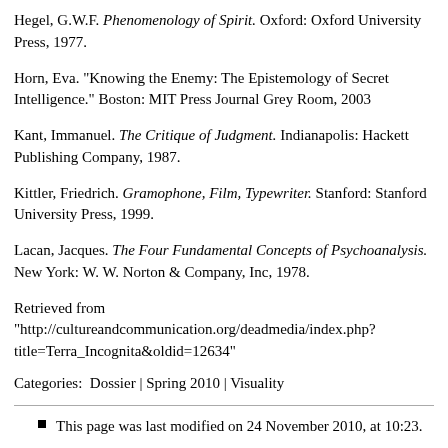Hegel, G.W.F. Phenomenology of Spirit. Oxford: Oxford University Press, 1977.
Horn, Eva. "Knowing the Enemy: The Epistemology of Secret Intelligence." Boston: MIT Press Journal Grey Room, 2003
Kant, Immanuel. The Critique of Judgment. Indianapolis: Hackett Publishing Company, 1987.
Kittler, Friedrich. Gramophone, Film, Typewriter. Stanford: Stanford University Press, 1999.
Lacan, Jacques. The Four Fundamental Concepts of Psychoanalysis. New York: W. W. Norton & Company, Inc, 1978.
Retrieved from "http://cultureandcommunication.org/deadmedia/index.php?title=Terra_Incognita&oldid=12634"
Categories:  Dossier | Spring 2010 | Visuality
This page was last modified on 24 November 2010, at 10:23.